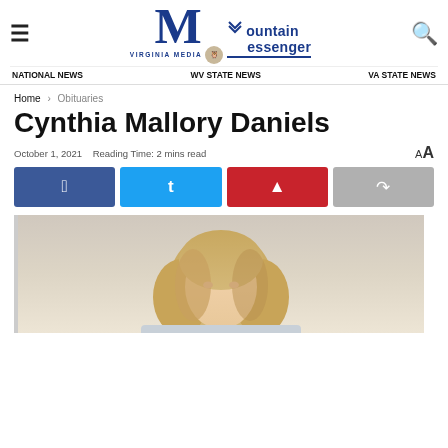Mountain Messenger — Virginia Media | NATIONAL NEWS  WV STATE NEWS  VA STATE NEWS
Home › Obituaries
Cynthia Mallory Daniels
October 1, 2021   Reading Time: 2 mins read
[Figure (other): Social media share buttons: Facebook, Twitter, Pinterest, Share]
[Figure (photo): Portrait photo of Cynthia Mallory Daniels, a woman with blonde/light brown hair]